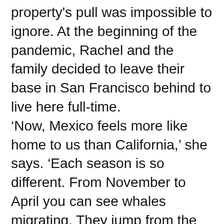property's pull was impossible to ignore. At the beginning of the pandemic, Rachel and the family decided to leave their base in San Francisco behind to live here full-time. ‘Now, Mexico feels more like home to us than California,’ she says. ‘Each season is so different. From November to April you can see whales migrating. They jump from the water directly in front of the house and slap their tails so hard it can shake the windows. It’s very special, and not something we will ever take for granted.’ en.roca-arquitectos.com
Source: elledecoration.co.uk/houses/a40378465/brutalist-beach-home/